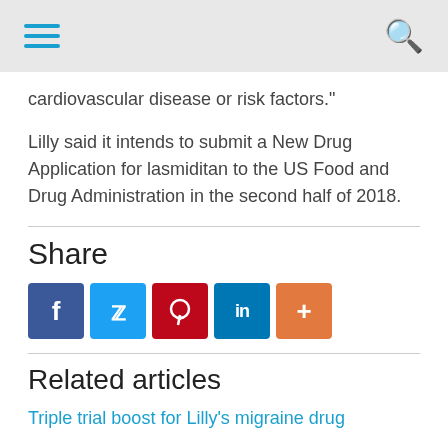cardiovascular disease or risk factors."
Lilly said it intends to submit a New Drug Application for lasmiditan to the US Food and Drug Administration in the second half of 2018.
Share
[Figure (infographic): Social sharing buttons: Facebook (dark blue), Twitter (light blue), Pinterest (red), LinkedIn (dark blue), More/Plus (orange)]
Related articles
Triple trial boost for Lilly's migraine drug
Migraine market set for fast growth, driven by two novel therapies